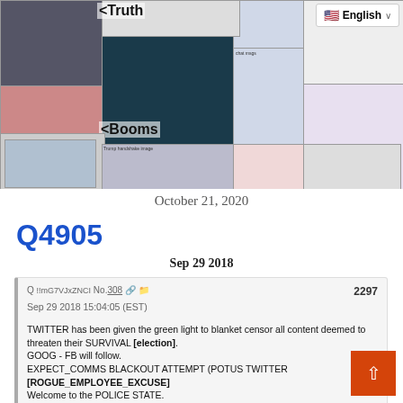[Figure (screenshot): Collage of social media posts, images including people (men in suits, a woman), dark background image, chat messages, and overlaid text labels '<Truth' and '<Booms'. Language selector showing English flag in top right.]
October 21, 2020
Q4905
Sep 29 2018
Q !!mG7VJxZNCI No.308 Sep 29 2018 15:04:05 (EST)
2297
TWITTER has been given the green light to blanket censor all content deemed to threaten their SURVIVAL [election].
GOOG - FB will follow.
EXPECT_COMMS BLACKOUT ATTEMPT (POTUS TWITTER [ROGUE_EMPLOYEE_EXCUSE]
Welcome to the POLICE STATE.
THEY KNOW IF THEY LOSE IT'S OVER.
THE TIME TO FIGHT!!! IS NOW.